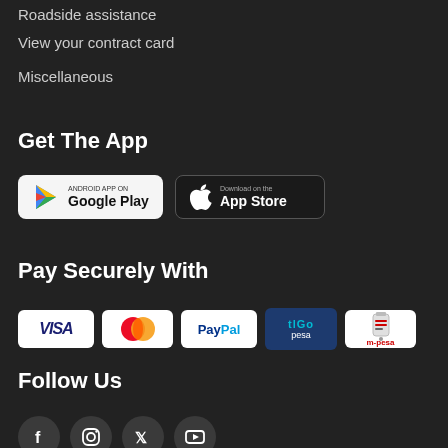Roadside assistance
View your contract card
Miscellaneous
Get The App
[Figure (logo): Google Play and App Store download buttons]
Pay Securely With
[Figure (logo): Payment method logos: VISA, Mastercard, PayPal, Tigo Pesa, M-Pesa]
Follow Us
[Figure (logo): Social media icons: Facebook, Instagram, Twitter, YouTube]